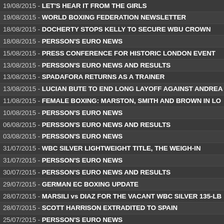19/08/2015 - LET'S HEAR IT FROM THE GIRLS
19/08/2015 - WORLD BOXING FEDERATION NEWSLETTER
18/08/2015 - DOCHERTY STOPS KELLY TO SECURE WBU CROWN
18/08/2015 - PERSSON'S EURO NEWS
15/08/2015 - PRESS CONFERENCE FOR HISTORIC LONDON EVENT
13/08/2015 - PERSSON'S EURO NEWS AND RESULTS
13/08/2015 - SPADAFORA RETURNS AS A TRAINER
13/08/2015 - LUCIAN BUTE TO END LONG LAYOFF AGAINST ANDREA
11/08/2015 - FEMALE BOXING: MARSTON, SMITH AND BROWN IN LO
10/08/2015 - PERSSON'S EURO NEWS
06/08/2015 - PERSSON'S EURO NEWS AND RESULTS
03/08/2015 - PERSSON'S EURO NEWS
31/07/2015 - WBC SILVER LIGHTWEIGHT TITLE, THE WEIGH-IN
31/07/2015 - PERSSON'S EURO NEWS
30/07/2015 - PERSSON'S EURO NEWS AND RESULTS
29/07/2015 - GERMAN EC BOXING UPDATE
28/07/2015 - MARSILI vs DIAZ FOR THE VACANT WBC SILVER 135-LB
28/07/2015 - SCOTT HARRISON EXTRADITED TO SPAIN
25/07/2015 - PERSSON'S EURO NEWS
22/07/2015 - PERSSON'S EURO RESULTS
20/07/2015 - JONES JR vs MORAN OPEN PRESS CONFERENCE
16/07/2015 - CHURCHER PREPARED FOR WAR AGAINST McEWAN
16/07/2015 - PERSSON'S EURO NEWS AND RESULTS
14/07/2015 - PERSSON'S EURO NEWS
14/07/2015 - LYONS & JAMES-ELLIOTT PLAN HUGE SEASON
10/07/2015 - ROY JONES JR vs TONY MORAN PRESS CONFERENCE
09/07/2015 - PERSSON'S EURO NEWS AND RESULTS